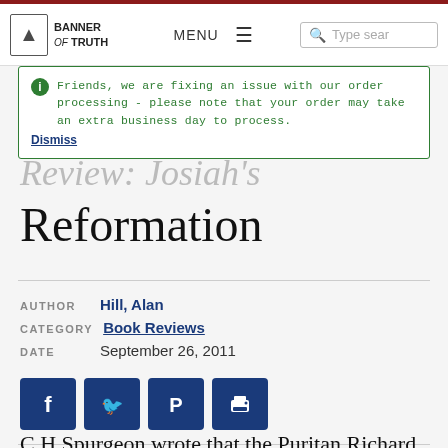Banner of Truth — MENU — Type search
Friends, we are fixing an issue with our order processing - please note that your order may take an extra business day to process. Dismiss
Review: Josiah's Reformation
AUTHOR Hill, Alan
CATEGORY Book Reviews
DATE September 26, 2011
C H Spurgeon wrote that the Puritan Richard